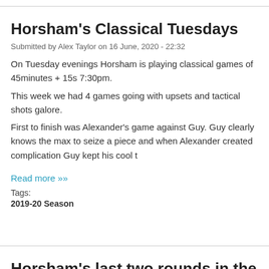Horsham's Classical Tuesdays
Submitted by Alex Taylor on 16 June, 2020 - 22:32
On Tuesday evenings Horsham is playing classical games of 45minutes + 15s 7:30pm.
This week we had 4 games going with upsets and tactical shots galore.
First to finish was Alexander's game against Guy. Guy clearly knows the max to seize a piece and when Alexander created complication Guy kept his cool t
Read more »»
Tags:
2019-20 Season
Horsham's last two rounds in the 4NCL
Submitted by Alex Taylor on 9 June, 2020 - 23:42